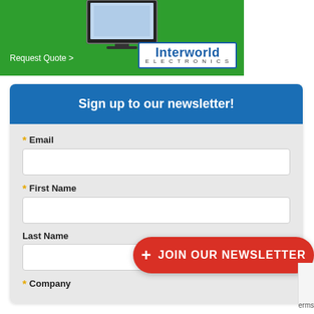[Figure (screenshot): Interworld Electronics banner advertisement with green background, monitor graphic, 'Request Quote >' text, and Interworld Electronics logo]
Sign up to our newsletter!
* Email
* First Name
Last Name
+ JOIN OUR NEWSLETTER
* Company